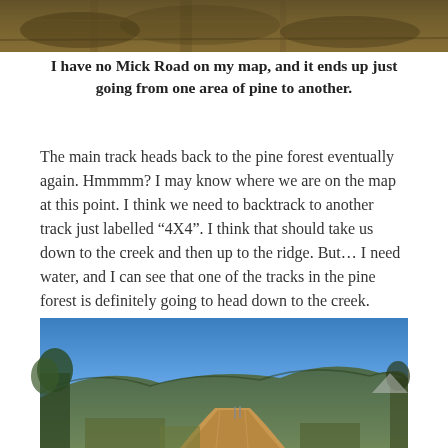[Figure (photo): Top portion of a nature/plant photo, cropped at top of page]
I have no Mick Road on my map, and it ends up just going from one area of pine to another.
The main track heads back to the pine forest eventually again. Hmmmm? I may know where we are on the map at this point. I think we need to backtrack to another track just labelled “4X4”. I think that should take us down to the creek and then up to the ridge. But… I need water, and I can see that one of the tracks in the pine forest is definitely going to head down to the creek.
[Figure (photo): Outdoor photo showing a dirt track/road through Australian bush with hills and blue sky in the background]